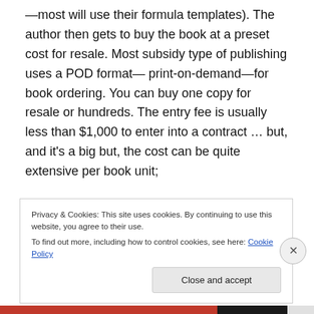—most will use their formula templates). The author then gets to buy the book at a preset cost for resale. Most subsidy type of publishing uses a POD format—print-on-demand—for book ordering. You can buy one copy for resale or hundreds. The entry fee is usually less than $1,000 to enter into a contract … but, and it's a big but, the cost can be quite extensive per book unit;
Privacy & Cookies: This site uses cookies. By continuing to use this website, you agree to their use. To find out more, including how to control cookies, see here: Cookie Policy